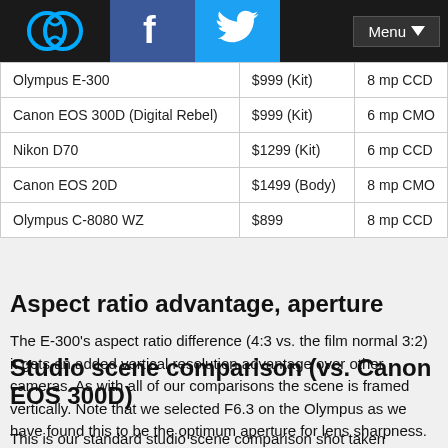Menu
| Olympus E-300 | $999 (Kit) | 8 mp CCD |
| Canon EOS 300D (Digital Rebel) | $999 (Kit) | 6 mp CMO |
| Nikon D70 | $1299 (Kit) | 6 mp CCD |
| Canon EOS 20D | $1499 (Body) | 8 mp CMO |
| Olympus C-8080 WZ | $899 | 8 mp CCD |
Aspect ratio advantage, aperture
The E-300's aspect ratio difference (4:3 vs. the film normal 3:2) it gets an added vertical resolution advantage over other cameras. As with all of our comparisons the scene is framed vertically. Note that we selected F6.3 on the Olympus as we have found this to be the optimum aperture for lens sharpness.
Studio scene comparison (vs. Canon EOS 300D)
This is our standard studio scene comparison shot taken